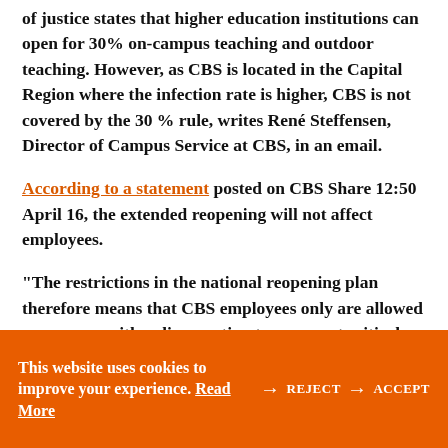of justice states that higher education institutions can open for 30% on-campus teaching and outdoor teaching. However, as CBS is located in the Capital Region where the infection rate is higher, CBS is not covered by the 30 % rule, writes René Steffensen, Director of Campus Service at CBS, in an email.
According to a statement posted on CBS Share 12:50 April 16, the extended reopening will not affect employees.
“The restrictions in the national reopening plan therefore means that CBS employees only are allowed on campus with a dispensation to carry out critical tasks,” the statement says and continues:
This website uses cookies to improve your experience. Read More
REJECT
ACCEPT